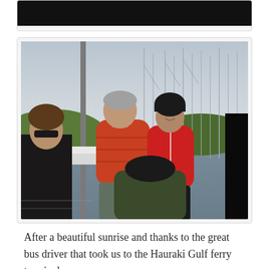[Figure (photo): Top portion of a photo cropped at top of page, showing dark/black content (likely sky or dark scene)]
[Figure (photo): Two people standing at a marina dock. A man in an orange/red puffer jacket and a woman in a red jacket wearing a black beanie hat. Behind them are sailboat masts, green hills, and an overcast sky. Other people are visible in the foreground.]
After a beautiful sunrise and thanks to the great bus driver that took us to the Hauraki Gulf ferry terminal